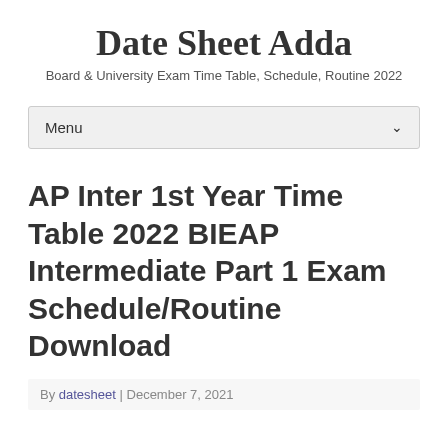Date Sheet Adda
Board & University Exam Time Table, Schedule, Routine 2022
Menu
AP Inter 1st Year Time Table 2022 BIEAP Intermediate Part 1 Exam Schedule/Routine Download
By datesheet | December 7, 2021